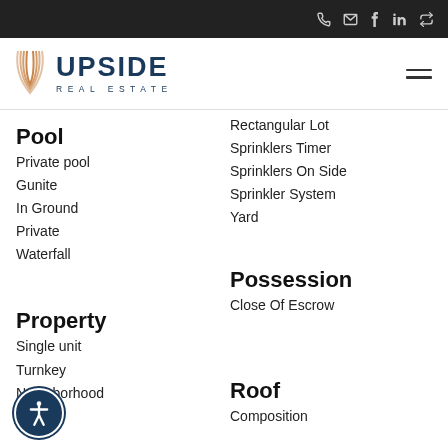Upside Real Estate — navigation bar with phone, email, facebook, linkedin, share icons
[Figure (logo): Upside Real Estate logo with stylized U and company name]
Pool
Private pool
Gunite
In Ground
Private
Waterfall
Rectangular Lot
Sprinklers Timer
Sprinklers On Side
Sprinkler System
Yard
Possession
Close Of Escrow
Property
Single unit
Turnkey
Neighborhood
Roof
Composition